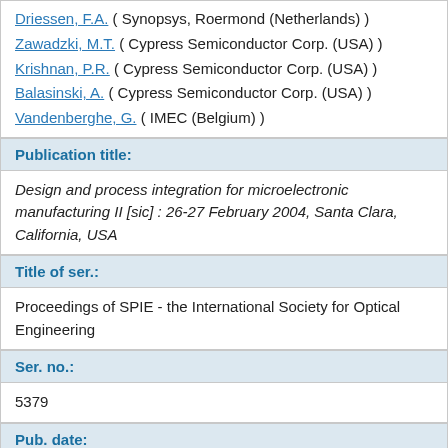Driessen, F.A. ( Synopsys, Roermond (Netherlands) )
Zawadzki, M.T. ( Cypress Semiconductor Corp. (USA) )
Krishnan, P.R. ( Cypress Semiconductor Corp. (USA) )
Balasinski, A. ( Cypress Semiconductor Corp. (USA) )
Vandenberghe, G. ( IMEC (Belgium) )
Publication title:
Design and process integration for microelectronic manufacturing II [sic] : 26-27 February 2004, Santa Clara, California, USA
Title of ser.:
Proceedings of SPIE - the International Society for Optical Engineering
Ser. no.:
5379
Pub. date:
2004
Page(from):
224
Page(to):